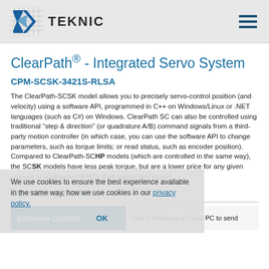Teknic
ClearPath® - Integrated Servo System
CPM-SCSK-3421S-RLSA
The ClearPath-SCSK model allows you to precisely servo-control position (and velocity) using a software API, programmed in C++ on Windows/Linux or .NET languages (such as C#) on Windows. ClearPath SC can also be controlled using traditional "step & direction" (or quadrature A/B) command signals from a third-party motion controller (in which case, you can use the software API to change parameters, such as torque limits; or read status, such as encoder position). Compared to ClearPath-SCHP models (which are controlled in the same way), the SCSK models have less peak torque, but are a lower price for any given amount of continuous (RMS) shaft torque and power.
Operating Modes
| Mode | Description |
| --- | --- |
| Software Control | Use a Windows or Linux PC to send |